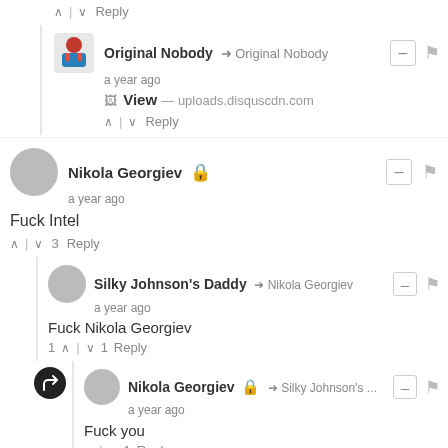↑ | ↓ Reply
Original Nobody → Original Nobody · a year ago · View — uploads.disquscdn.com
↑ | ↓ Reply
Nikola Georgiev · a year ago
Fuck Intel
↑ | ↓ 3 Reply
Silky Johnson's Daddy → Nikola Georgiev · a year ago
Fuck Nikola Georgiev
1 ↑ | ↓ 1 Reply
Nikola Georgiev → Silky Johnson's ... · a year ago
Fuck you
↑ | ↓ 1 Reply